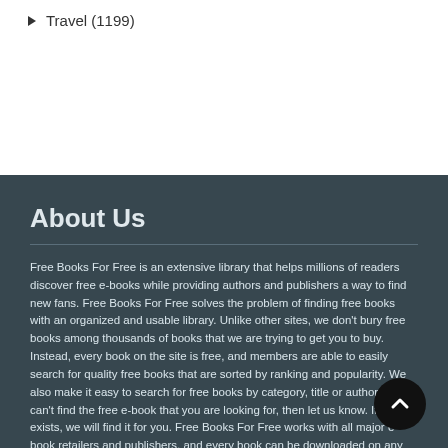Travel (1199)
About Us
Free Books For Free is an extensive library that helps millions of readers discover free e-books while providing authors and publishers a way to find new fans. Free Books For Free solves the problem of finding free books with an organized and usable library. Unlike other sites, we don't bury free books among thousands of books that we are trying to get you to buy. Instead, every book on the site is free, and members are able to easily search for quality free books that are sorted by ranking and popularity. We also make it easy to search for free books by category, title or author. If you can't find the free e-book that you are looking for, then let us know. If it exists, we will find it for you. Free Books For Free works with all major e-book retailers and publishers, and every book can be downloaded on any device. Free Books For Free was founded in 2016 and is headquartered in California, USA.